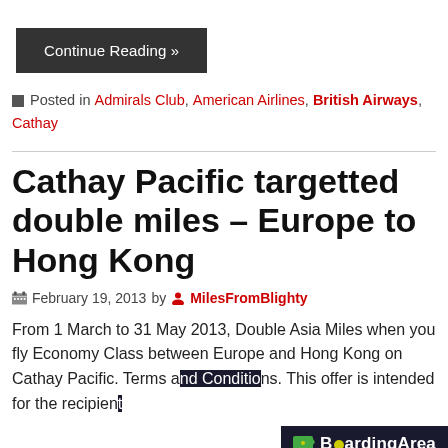Continue Reading »
Posted in Admirals Club, American Airlines, British Airways, Cathay
Cathay Pacific targetted double miles – Europe to Hong Kong
February 19, 2013 by MilesFromBlighty
From 1 March to 31 May 2013, Double Asia Miles when you fly Economy Class between Europe and Hong Kong on Cathay Pacific. Terms and Conditions. This offer is intended for the recipient